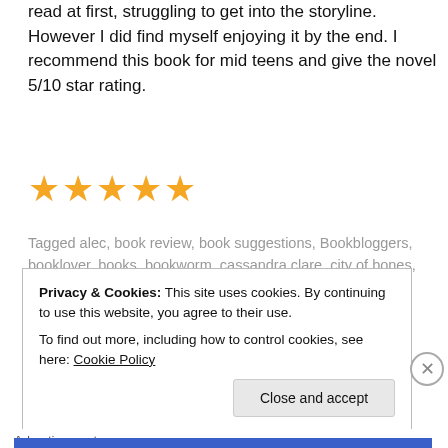read at first, struggling to get into the storyline. However I did find myself enjoying it by the end. I recommend this book for mid teens and give the novel 5/10 star rating.
[Figure (other): Five gold/orange stars rating display]
Tagged alec, book review, book suggestions, Bookbloggers, booklover, books, bookworm, cassandra clare, city of bones, clary, fairchild, fantasy, fiction, izzy, jace, lightwood, morgenstern, novel, shadow hunters, simon, valentine
Privacy & Cookies: This site uses cookies. By continuing to use this website, you agree to their use.
To find out more, including how to control cookies, see here: Cookie Policy
Close and accept
Advertisements